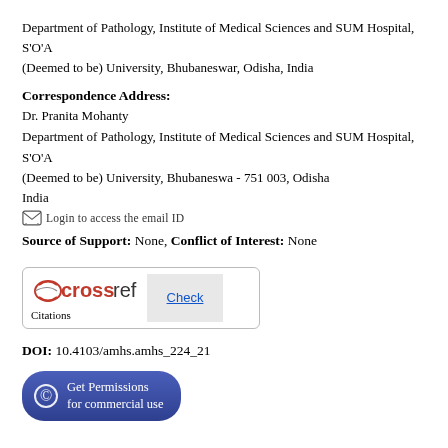Department of Pathology, Institute of Medical Sciences and SUM Hospital, S'O'A (Deemed to be) University, Bhubaneswar, Odisha, India
Correspondence Address:
Dr. Pranita Mohanty
Department of Pathology, Institute of Medical Sciences and SUM Hospital, S'O'A (Deemed to be) University, Bhubaneswa - 751 003, Odisha India
Login to access the email ID
Source of Support: None, Conflict of Interest: None
[Figure (logo): Crossref Citations logo with Check button]
DOI: 10.4103/amhs.amhs_224_21
Get Permissions for commercial use